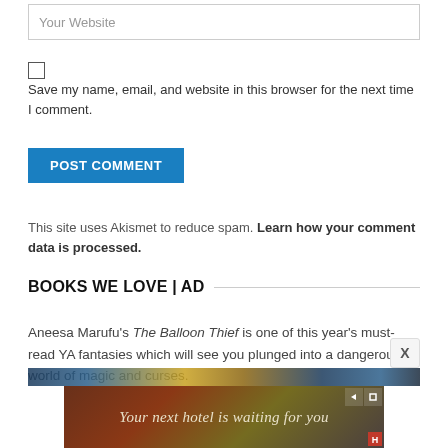Your Website
Save my name, email, and website in this browser for the next time I comment.
POST COMMENT
This site uses Akismet to reduce spam. Learn how your comment data is processed.
BOOKS WE LOVE | AD
Aneesa Marufu's The Balloon Thief is one of this year's must-read YA fantasies which will see you plunged into a dangerous world of magic and curses.
[Figure (other): Partial book cover image at bottom of page]
[Figure (other): Advertisement banner: Your next hotel is waiting for you]